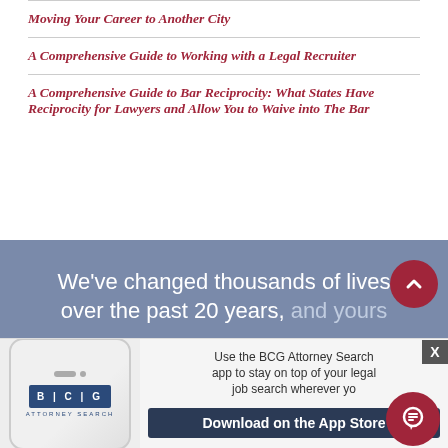Moving Your Career to Another City
A Comprehensive Guide to Working with a Legal Recruiter
A Comprehensive Guide to Bar Reciprocity: What States Have Reciprocity for Lawyers and Allow You to Waive into The Bar
We've changed thousands of lives over the past 20 years, and yours
[Figure (screenshot): BCG Attorney Search app promotion banner with phone mockup showing BCG logo, text about using the app for legal job search, and Download on the App Store button]